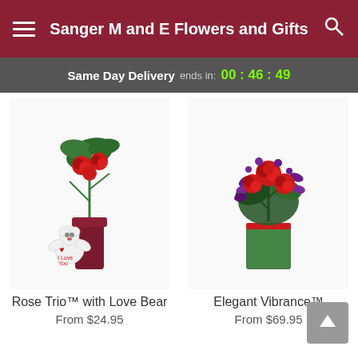Sanger M and E Flowers and Gifts
Same Day Delivery ends in: 00 : 46 : 49
[Figure (photo): Rose Trio with Love Bear floral arrangement: red roses in a dark red vase with a small white teddy bear]
Rose Trio™ with Love Bear
From $24.95
[Figure (photo): Elegant Vibrance floral arrangement: red roses and purple orchids in a green square glass vase]
Elegant Vibrance™
From $69.95